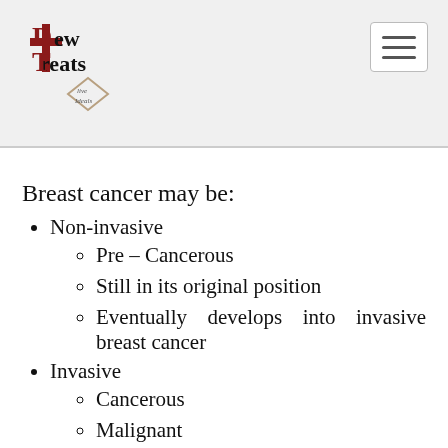Dew Treats logo and navigation
Breast cancer may be:
Non-invasive
Pre – Cancerous
Still in its original position
Eventually develops into invasive breast cancer
Invasive
Cancerous
Malignant